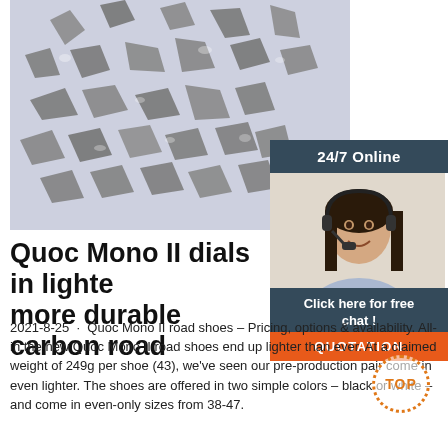[Figure (photo): Close-up photo of gray diamond grit/carbon particles scattered on a light lavender background]
[Figure (infographic): 24/7 Online chat widget with dark blue-gray header, photo of female customer service agent with headset, 'Click here for free chat!' text, and orange QUOTATION button]
Quoc Mono II dials in lighter, more durable carbon road
2021-8-25 · Quoc Mono II road shoes – Pricing, options & availability. All-in the new Quoc Mono II road shoes end up lighter than ever. At a claimed weight of 249g per shoe (43), we've seen our pre-production pair come in even lighter. The shoes are offered in two simple colors – black or white – and come in even-only sizes from 38-47.